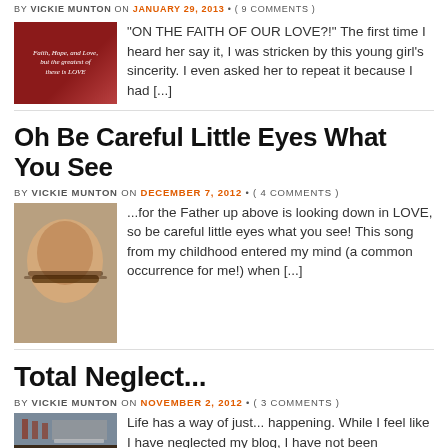BY VICKIE MUNTON ON JANUARY 29, 2013 • ( 9 COMMENTS )
[Figure (photo): Red-toned image with text 'Faith, Hope, and Love, but the greatest of these is LOVE' with a leaf motif]
"ON THE FAITH OF OUR LOVE?!" The first time I heard her say it, I was stricken by this young girl's sincerity. I even asked her to repeat it because I had [...]
Oh Be Careful Little Eyes What You See
BY VICKIE MUNTON ON DECEMBER 7, 2012 • ( 4 COMMENTS )
[Figure (photo): Photo of a young child wearing glasses, looking down]
...for the Father up above is looking down in LOVE, so be careful little eyes what you see! This song from my childhood entered my mind (a common occurrence for me!) when [...]
Total Neglect...
BY VICKIE MUNTON ON NOVEMBER 2, 2012 • ( 3 COMMENTS )
[Figure (photo): Photo of a baseball stadium with brick wall and flag]
Life has a way of just... happening. While I feel like I have neglected my blog, I have not been neglecting the more important